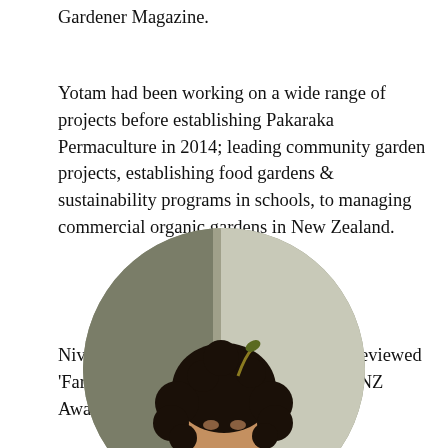Gardener Magazine.
Yotam had been working on a wide range of projects before establishing Pakaraka Permaculture in 2014; leading community garden projects, establishing food gardens & sustainability programs in schools, to managing commercial organic gardens in New Zealand.
Niva and Yotam were awarded the peer reviewed 'Farmer of the Year' at the 2021 Organic NZ Awards.
[Figure (photo): A circular cropped photograph of a person with curly dark hair, partially visible, shown from shoulders up against a muted olive/grey background.]